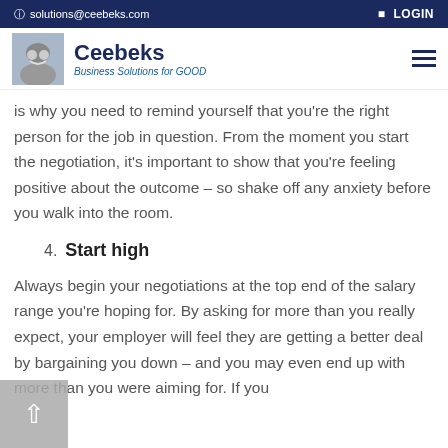solutions@ceebeks.com  LOGIN
[Figure (logo): Ceebeks logo with handshake image, brand name 'Ceebeks' in bold dark blue, tagline 'Business Solutions for GOOD' in blue italic]
is why you need to remind yourself that you're the right person for the job in question. From the moment you start the negotiation, it's important to show that you're feeling positive about the outcome – so shake off any anxiety before you walk into the room.
4.  Start high
Always begin your negotiations at the top end of the salary range you're hoping for. By asking for more than you really expect, your employer will feel they are getting a better deal by bargaining you down – and you may even end up with more than you were aiming for. If you